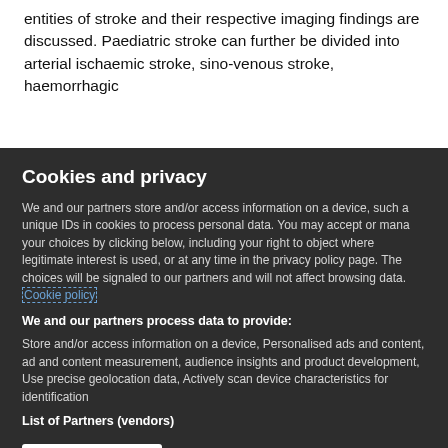entities of stroke and their respective imaging findings are discussed. Paediatric stroke can further be divided into arterial ischaemic stroke, sino-venous stroke, haemorrhagic
Cookies and privacy
We and our partners store and/or access information on a device, such as unique IDs in cookies to process personal data. You may accept or manage your choices by clicking below, including your right to object where legitimate interest is used, or at any time in the privacy policy page. These choices will be signaled to our partners and will not affect browsing data. Cookie policy
We and our partners process data to provide:
Store and/or access information on a device, Personalised ads and content, ad and content measurement, audience insights and product development, Use precise geolocation data, Actively scan device characteristics for identification
List of Partners (vendors)
I Accept